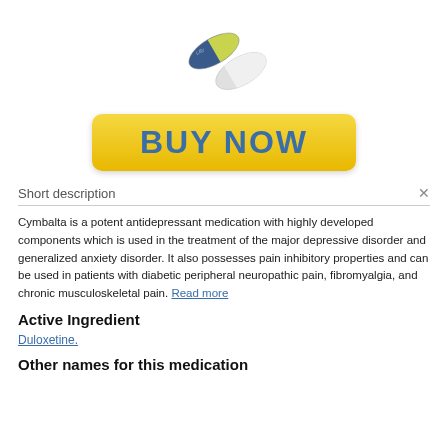[Figure (photo): Two pharmaceutical capsules - one blue/green and one white/grey, overlapping, with 'Lilly' text on the blue capsule]
[Figure (other): Yellow gradient BUY NOW button with blue bold text]
Short description
Cymbalta is a potent antidepressant medication with highly developed components which is used in the treatment of the major depressive disorder and generalized anxiety disorder. It also possesses pain inhibitory properties and can be used in patients with diabetic peripheral neuropathic pain, fibromyalgia, and chronic musculoskeletal pain. Read more
Active Ingredient
Duloxetine.
Other names for this medication